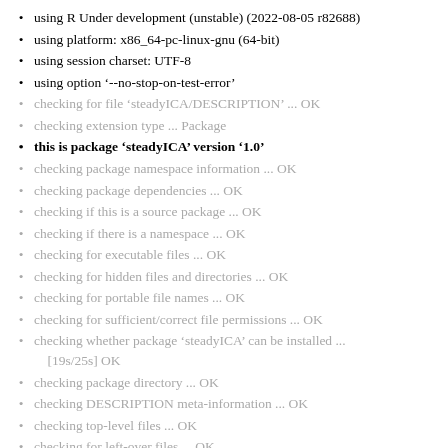using R Under development (unstable) (2022-08-05 r82688)
using platform: x86_64-pc-linux-gnu (64-bit)
using session charset: UTF-8
using option ‘--no-stop-on-test-error’
checking for file ‘steadyICA/DESCRIPTION’ ... OK
checking extension type ... Package
this is package ‘steadyICA’ version ‘1.0’
checking package namespace information ... OK
checking package dependencies ... OK
checking if this is a source package ... OK
checking if there is a namespace ... OK
checking for executable files ... OK
checking for hidden files and directories ... OK
checking for portable file names ... OK
checking for sufficient/correct file permissions ... OK
checking whether package ‘steadyICA’ can be installed ... [19s/25s] OK
checking package directory ... OK
checking DESCRIPTION meta-information ... OK
checking top-level files ... OK
checking for left-over files ... OK
checking index information ... OK
checking package subdirectories ... OK
checking R files for non-ASCII characters ... OK